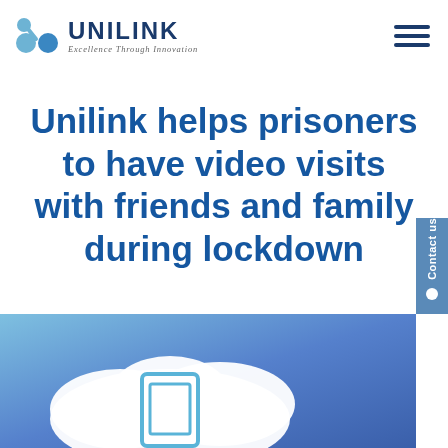[Figure (logo): Unilink logo with blue connected dots icon and text 'UNILINK Excellence Through Innovation']
[Figure (other): Hamburger menu icon — three horizontal blue lines in top-right corner]
Unilink helps prisoners to have video visits with friends and family during lockdown
[Figure (illustration): Blue gradient background with white cloud and tablet/screen icon illustration, partially visible at bottom of page]
[Figure (other): Contact us vertical tab on right side with white dot]